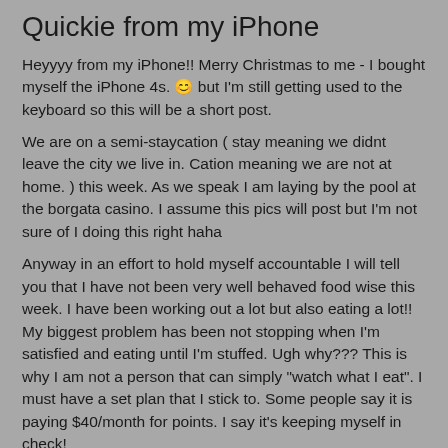Quickie from my iPhone
Heyyyy from my iPhone!! Merry Christmas to me - I bought myself the iPhone 4s. 😊 but I'm still getting used to the keyboard so this will be a short post.
We are on a semi-staycation ( stay meaning we didnt leave the city we live in. Cation meaning we are not at home. ) this week. As we speak I am laying by the pool at the borgata casino. I assume this pics will post but I'm not sure of I doing this right haha
Anyway in an effort to hold myself accountable I will tell you that I have not been very well behaved food wise this week. I have been working out a lot but also eating a lot!! My biggest problem has been not stopping when I'm satisfied and eating until I'm stuffed. Ugh why??? This is why I am not a person that can simply "watch what I eat". I must have a set plan that I stick to. Some people say it is paying $40/month for points. I say it's keeping myself in check!